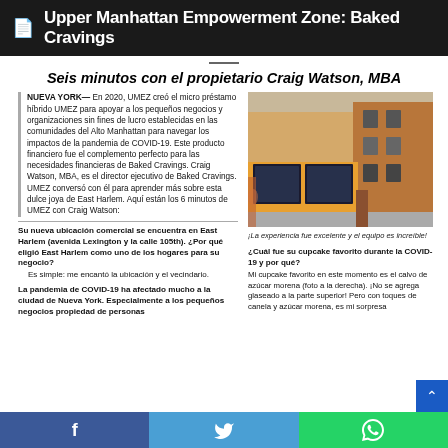Upper Manhattan Empowerment Zone: Baked Cravings
Seis minutos con el propietario Craig Watson, MBA
NUEVA YORK— En 2020, UMEZ creó el micro préstamo híbrido UMEZ para apoyar a los pequeños negocios y organizaciones sin fines de lucro establecidas en las comunidades del Alto Manhattan para navegar los impactos de la pandemia de COVID-19. Este producto financiero fue el complemento perfecto para las necesidades financieras de Baked Cravings. Craig Watson, MBA, es el director ejecutivo de Baked Cravings. UMEZ conversó con él para aprender más sobre esta dulce joya de East Harlem. Aquí están los 6 minutos de UMEZ con Craig Watson:
[Figure (photo): Street-level photo of Baked Cravings store at corner location in East Harlem, showing orange-accented storefront with large windows]
¡La experiencia fue excelente y el equipo es increíble!
Su nueva ubicación comercial se encuentra en East Harlem (avenida Lexington y la calle 105th). ¿Por qué eligió East Harlem como uno de los hogares para su negocio?
Es simple: me encantó la ubicación y el vecindario.
La pandemia de COVID-19 ha afectado mucho a la ciudad de Nueva York. Especialmente a los pequeños negocios propiedad de personas
¿Cuál fue su cupcake favorito durante la COVID-19 y por qué?
Mi cupcake favorito en este momento es el calvo de azúcar morena (foto a la derecha). ¡No se agrega glaseado a la parte superior! Pero con toques de canela y azúcar morena, es mi sorpresa